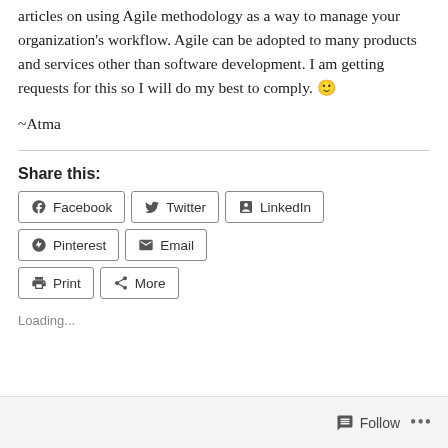articles on using Agile methodology as a way to manage your organization's workflow. Agile can be adopted to many products and services other than software development. I am getting requests for this so I will do my best to comply. 🙂
~Atma
Share this:
Facebook  Twitter  LinkedIn  Pinterest  Email  Print  More
Loading...
Follow  ...